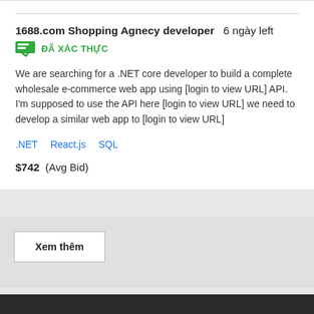1688.com Shopping Agnecy developer  6 ngày left  ĐÃ XÁC THỰC
We are searching for a .NET core developer to build a complete wholesale e-commerce web app using [login to view URL] API. I'm supposed to use the API here [login to view URL] we need to develop a similar web app to [login to view URL]
.NET  React.js  SQL
$742  (Avg Bid)
Xem thêm